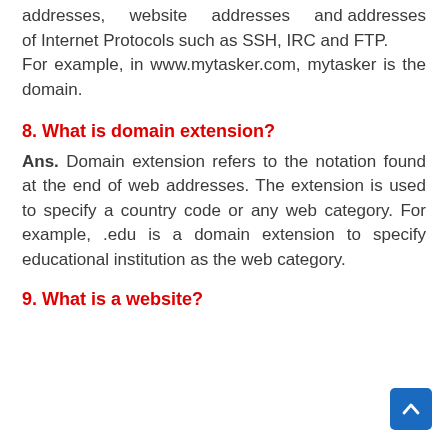addresses, website addresses and addresses of Internet Protocols such as SSH, IRC and FTP.
For example, in www.mytasker.com, mytasker is the domain.
8. What is domain extension?
Ans. Domain extension refers to the notation found at the end of web addresses. The extension is used to specify a country code or any web category. For example, .edu is a domain extension to specify educational institution as the web category.
9. What is a website?